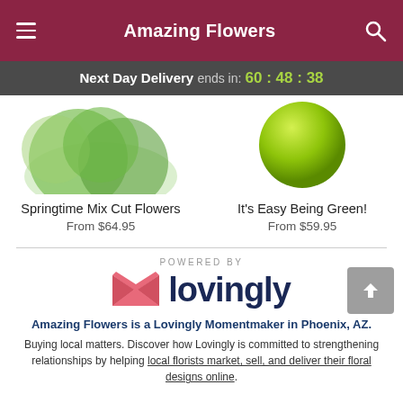Amazing Flowers
Next Day Delivery ends in: 60 : 48 : 38
[Figure (photo): Two product images: left shows Springtime Mix Cut Flowers with green foliage, right shows It's Easy Being Green! with a lime green round vase]
Springtime Mix Cut Flowers
From $64.95
It's Easy Being Green!
From $59.95
[Figure (logo): Powered by Lovingly logo with pink heart/envelope icon and dark navy 'lovingly' wordmark]
Amazing Flowers is a Lovingly Momentmaker in Phoenix, AZ.
Buying local matters. Discover how Lovingly is committed to strengthening relationships by helping local florists market, sell, and deliver their floral designs online.